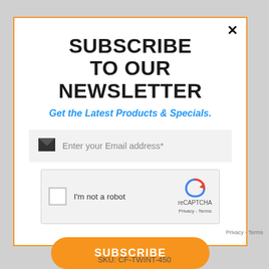SUBSCRIBE TO OUR NEWSLETTER
Get the Latest Products & Specials.
Enter your Email address*
[Figure (other): reCAPTCHA widget with checkbox labeled 'I'm not a robot' and reCAPTCHA logo with Privacy and Terms links]
SUBSCRIBE
SKU: CF-TWINT-450